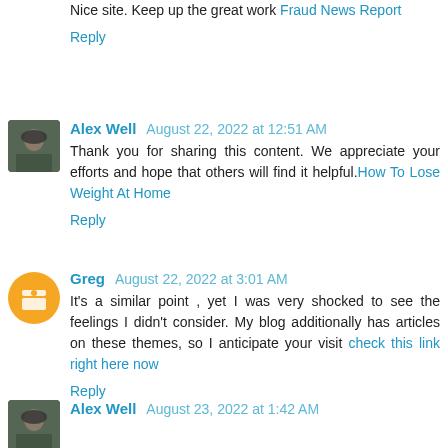Nice site. Keep up the great work Fraud News Report
Reply
Alex Well August 22, 2022 at 12:51 AM
Thank you for sharing this content. We appreciate your efforts and hope that others will find it helpful.How To Lose Weight At Home
Reply
Greg August 22, 2022 at 3:01 AM
It's a similar point , yet I was very shocked to see the feelings I didn't consider. My blog additionally has articles on these themes, so I anticipate your visit check this link right here now
Reply
Alex Well August 23, 2022 at 1:42 AM